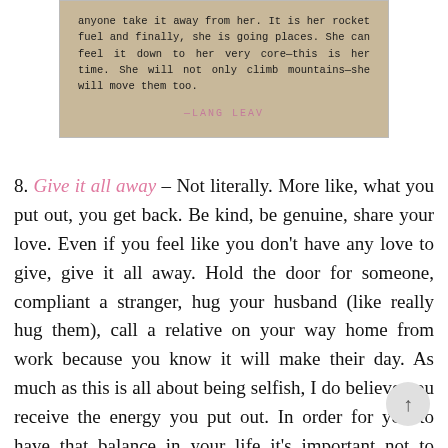[Figure (photo): A scanned page with aged paper background showing a poem excerpt ending with '—LANG LEAV' attribution in pink uppercase letters, text in Courier-style font reading about rocket fuel, going places, moving mountains.]
8. Give it all away – Not literally. More like, what you put out, you get back. Be kind, be genuine, share your love. Even if you feel like you don't have any love to give, give it all away. Hold the door for someone, compliant a stranger, hug your husband (like really hug them), call a relative on your way home from work because you know it will make their day. As much as this is all about being selfish, I do believe you receive the energy you put out. In order for you to have that balance in your life it's important not to neglect the people you love the